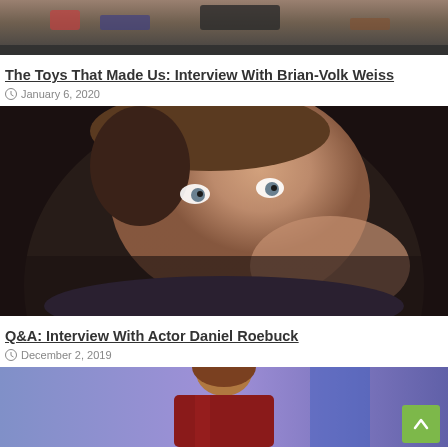[Figure (photo): Top portion of a photo showing toys/collectibles on a shelf]
The Toys That Made Us: Interview With Brian-Volk Weiss
January 6, 2020
[Figure (photo): Close-up portrait photo of actor Daniel Roebuck resting his chin on his hand, looking at the camera with wide eyes, dark background]
Q&A: Interview With Actor Daniel Roebuck
December 2, 2019
[Figure (photo): Partial photo of a person in a red jacket against a purple/blue background, partially cropped at bottom of page]